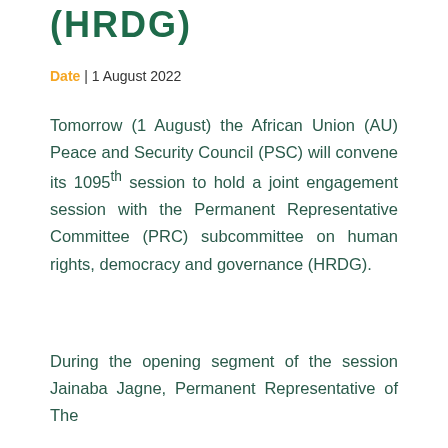(HRDG)
Date | 1 August 2022
Tomorrow (1 August) the African Union (AU) Peace and Security Council (PSC) will convene its 1095th session to hold a joint engagement session with the Permanent Representative Committee (PRC) subcommittee on human rights, democracy and governance (HRDG).
During the opening segment of the session Jainaba Jagne, Permanent Representative of The